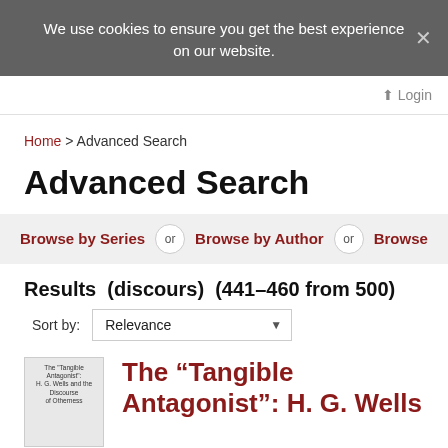We use cookies to ensure you get the best experience on our website.
Home > Advanced Search
Advanced Search
Browse by Series  or  Browse by Author  or  Browse...
Results  (discours)  (441–460 from 500)
Sort by: Relevance
The “Tangible Antagonist”: H. G. Wells